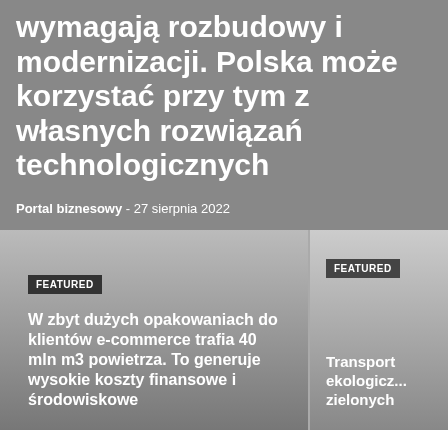wymagają rozbudowy i modernizacji. Polska może korzystać przy tym z własnych rozwiązań technologicznych
Portal biznesowy - 27 sierpnia 2022
[Figure (photo): Card with gradient background showing article about e-commerce packaging]
FEATURED
W zbyt dużych opakowaniach do klientów e-commerce trafia 40 mln m3 powietrza. To generuje wysokie koszty finansowe i środowiskowe
[Figure (photo): Card with gradient background showing article about transport ekologiczny]
FEATURED
Transport ekologicz... zielonych